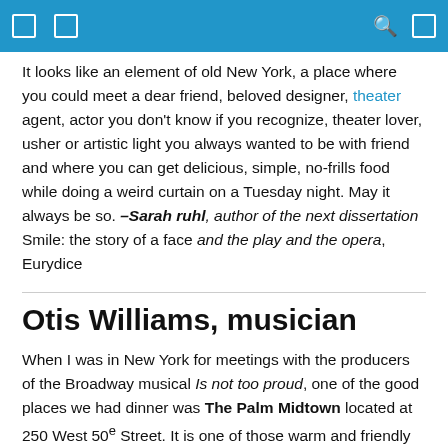[navigation bar with icons]
It looks like an element of old New York, a place where you could meet a dear friend, beloved designer, theater agent, actor you don't know if you recognize, theater lover, usher or artistic light you always wanted to be with friend and where you can get delicious, simple, no-frills food while doing a weird curtain on a Tuesday night. May it always be so. –Sarah ruhl, author of the next dissertation Smile: the story of a face and the play and the opera, Eurydice
Otis Williams, musician
When I was in New York for meetings with the producers of the Broadway musical Is not too proud, one of the good places we had dinner was The Palm Midtown located at 250 West 50e Street. It is one of those warm and friendly places where, as soon as you enter the dining room, you feel at home. I love the caricatures on the wall so many reminders of artists, writers and actors from Broadway